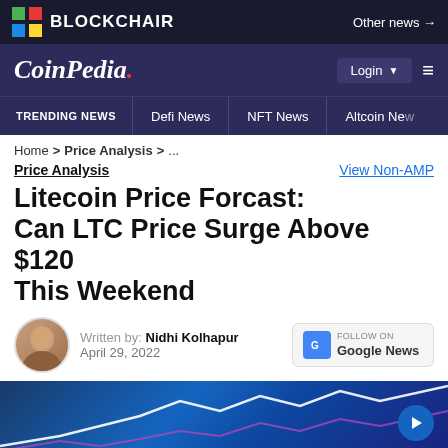BLOCKCHAIR — Other news →
CoinPedia. — Login — Menu
TRENDING NEWS | Defi News | NFT News | Altcoin News
Home > Price Analysis > ...
Price Analysis
View Non-AMP
Litecoin Price Forcast: Can LTC Price Surge Above $120 This Weekend
Written by: Nidhi Kolhapur
April 29, 2022
[Figure (photo): Article header image with blue gradient background and white line chart curves suggesting upward price movement]